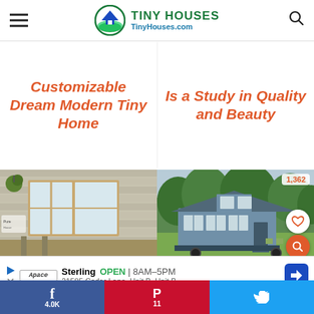TINY HOUSES TinyHouses.com
Customizable Dream Modern Tiny Home
Is a Study in Quality and Beauty
[Figure (photo): Exterior of a tiny house building with large windows and tan siding]
[Figure (photo): Blue tiny house on wheels parked in a grassy area with trees, showing 1,362 likes]
Sterling OPEN | 8AM–5PM 21585 Cedar Lane, Unit B, Unit B, ...
f 4.0K   P 11   Twitter share button